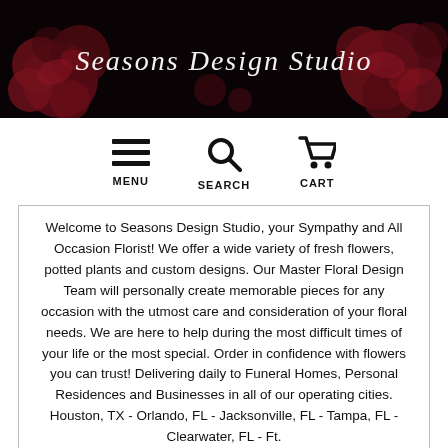[Figure (illustration): Dark floral header banner with red roses and cursive script text reading 'Seasons Design Studio']
MENU   SEARCH   CART
Welcome to Seasons Design Studio, your Sympathy and All Occasion Florist! We offer a wide variety of fresh flowers, potted plants and custom designs. Our Master Floral Design Team will personally create memorable pieces for any occasion with the utmost care and consideration of your floral needs. We are here to help during the most difficult times of your life or the most special. Order in confidence with flowers you can trust! Delivering daily to Funeral Homes, Personal Residences and Businesses in all of our operating cities. Houston, TX - Orlando, FL - Jacksonville, FL - Tampa, FL - Clearwater, FL - Ft.